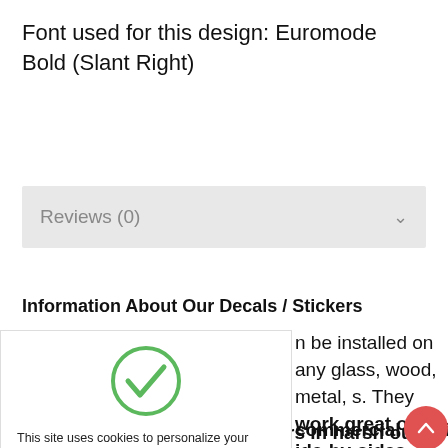Font used for this design: Euromode Bold (Slant Right)
Reviews (0)
Information About Our Decals / Stickers
This site uses cookies to personalize your shopping experience. See our cookie policy for further information on how this information is used.
n be installed on any glass, wood, metal, s. They work great on ide-by-sides, ATVs, ops, phones, windows,
commercial quality vinyl that will last several years in harsh outdoor